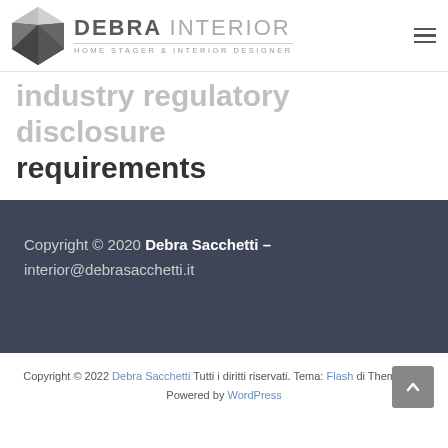[Figure (logo): Debra Interior logo with geometric gem icon and text 'DEBRA INTERIOR — HOME STAGER & INTERIOR DESIGNER']
industry regulatory disclosure requirements
Copyright © 2020 Debra Sacchetti – interior@debrasacchetti.it
Copyright © 2022 Debra Sacchetti Tutti i diritti riservati. Tema: Flash di ThemeGrill. Powered by WordPress